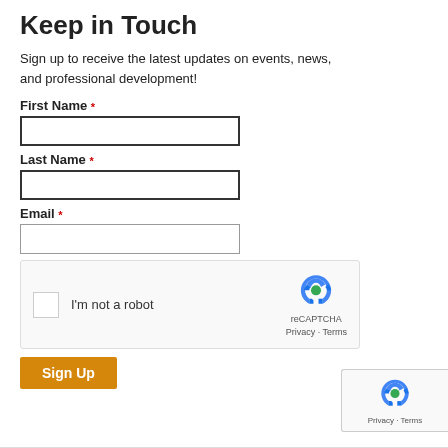Keep in Touch
Sign up to receive the latest updates on events, news, and professional development!
First Name *
Last Name *
Email *
[Figure (other): reCAPTCHA widget with checkbox 'I'm not a robot' and reCAPTCHA logo with Privacy and Terms links]
Sign Up